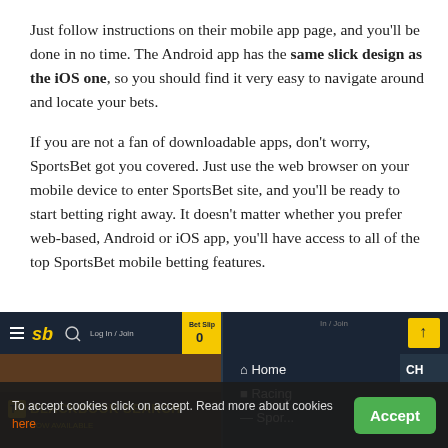Just follow instructions on their mobile app page, and you'll be done in no time. The Android app has the same slick design as the iOS one, so you should find it very easy to navigate around and locate your bets.
If you are not a fan of downloadable apps, don't worry, SportsBet got you covered. Just use the web browser on your mobile device to enter SportsBet site, and you'll be ready to start betting right away. It doesn't matter whether you prefer web-based, Android or iOS app, you'll have access to all of the top SportsBet mobile betting features.
[Figure (screenshot): Screenshot of the SportsBet mobile app showing the navigation header with hamburger menu, sb logo, search, Log In/Join, Bet Slip 0, and a Blackbook Search banner. Right panel shows Home and Racing navigation items with an up arrow button.]
To accept cookies click on accept. Read more about cookies here